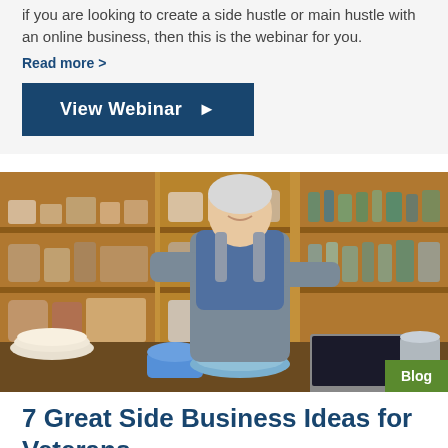if you are looking to create a side hustle or main hustle with an online business, then this is the webinar for you.
Read more >
View Webinar ▶
[Figure (photo): A smiling older woman with gray hair wearing a denim shirt and apron, standing in a pottery/craft workshop filled with shelves of ceramics, supplies, and a laptop on the worktable in front of her.]
Blog
7 Great Side Business Ideas for Veterans